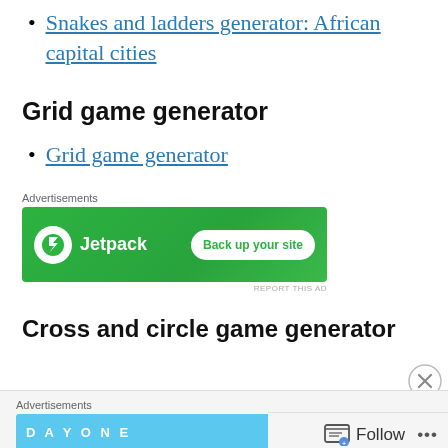Snakes and ladders generator: African capital cities
Grid game generator
Grid game generator
[Figure (screenshot): Advertisements banner: Jetpack plugin ad with green background showing 'Jetpack' logo and 'Back up your site' button]
Cross and circle game generator
[Figure (screenshot): Advertisements bar at bottom showing DAY ONE ad in blue, with Follow button and close (X) circle in bottom right]
Follow ...